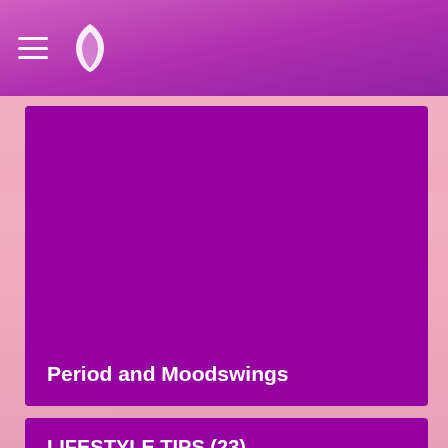Navigation header with hamburger menu and logo
[Figure (illustration): Purple card/tile for article 'Period and Moodswings' with white bold title text at bottom left]
Period and Moodswings
LIFESTYLE TIPS (23)